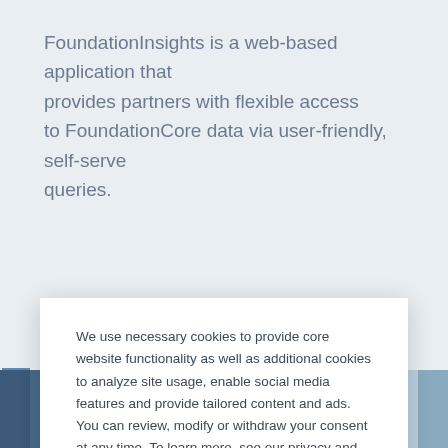FoundationInsights is a web-based application that provides partners with flexible access to FoundationCore data via user-friendly, self-serve queries.
We use necessary cookies to provide core website functionality as well as additional cookies to analyze site usage, enable social media features and provide tailored content and ads. You can review, modify or withdraw your consent at any time. To learn more, see our privacy and cookie policy.
CUSTOMIZE COOKIES
Dismiss
[Figure (photo): Partial view of people in blue uniforms/lab coats at the bottom of the page]